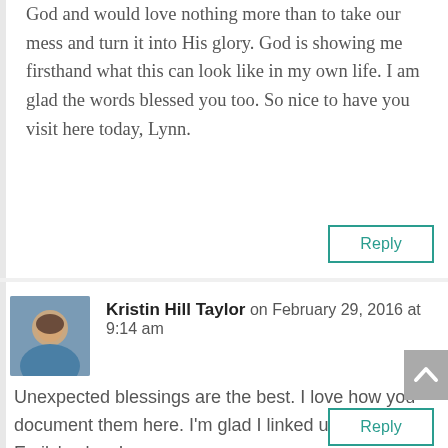God and would love nothing more than to take our mess and turn it into His glory. God is showing me firsthand what this can look like in my own life. I am glad the words blessed you too. So nice to have you visit here today, Lynn.
Reply
Kristin Hill Taylor on February 29, 2016 at 9:14 am
Unexpected blessings are the best. I love how you document them here. I'm glad I linked up near you at Emily's place!
Reply